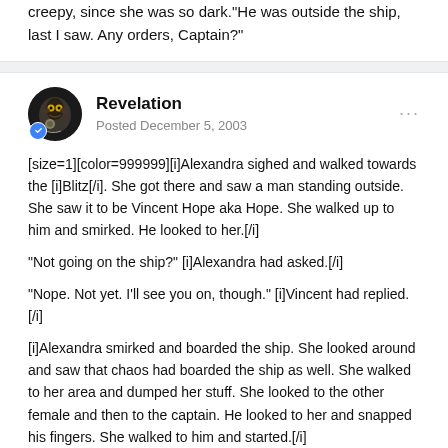creepy, since she was so dark."He was outside the ship, last I saw. Any orders, Captain?"
Revelation
Posted December 5, 2003
[size=1][color=999999][i]Alexandra sighed and walked towards the [i]Blitz[/i]. She got there and saw a man standing outside. She saw it to be Vincent Hope aka Hope. She walked up to him and smirked. He looked to her.[/i]

"Not going on the ship?" [i]Alexandra had asked.[/i]

"Nope. Not yet. I'll see you on, though." [i]Vincent had replied.[/i]

[i]Alexandra smirked and boarded the ship. She looked around and saw that chaos had boarded the ship as well. She walked to her area and dumped her stuff. She looked to the other female and then to the captain. He looked to her and snapped his fingers. She walked to him and started.[/i]